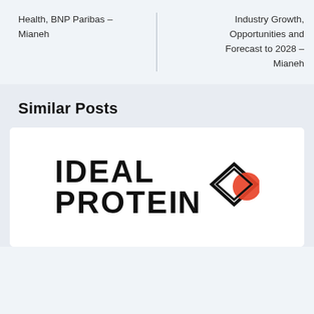Health, BNP Paribas – Mianeh
Industry Growth, Opportunities and Forecast to 2028 – Mianeh
Similar Posts
[Figure (logo): IDEAL PROTEIN logo with geometric diamond and orange circle icon]